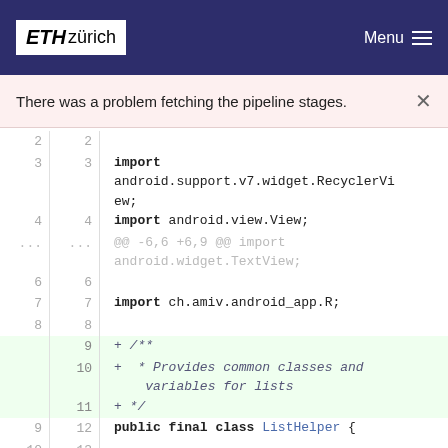ETH zürich  Menu
There was a problem fetching the pipeline stages.
[Figure (screenshot): Code diff view showing Java source file with added Javadoc comment block above public final class ListHelper declaration. Lines 2-14 shown with old/new line numbers. Added lines (9-11) highlighted in green showing /** * Provides common classes and variables for lists */]